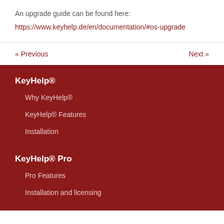An upgrade guide can be found here:
https://www.keyhelp.de/en/documentation/#os-upgrade
« Previous
Next »
KeyHelp®
Why KeyHelp®
KeyHelp® Features
Installation
KeyHelp® Pro
Pro Features
Installation and licensing